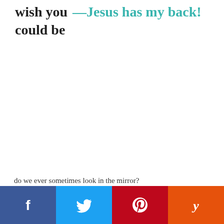wish you  —Jesus has my back!
could be
do we ever sometimes look in the mirror?
[Figure (infographic): Social media share buttons bar at the bottom: Facebook (blue), Twitter (light blue), Pinterest (red), Yummly (orange), each with respective icon in white.]